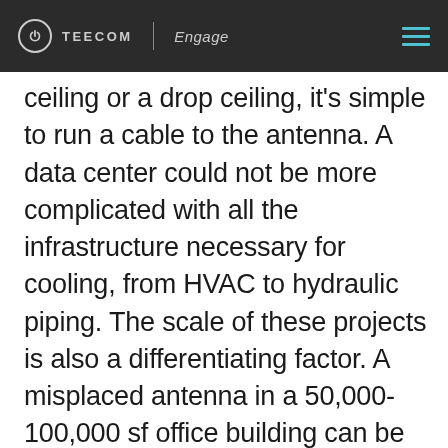TEECOM | Engage
ceiling or a drop ceiling, it's simple to run a cable to the antenna. A data center could not be more complicated with all the infrastructure necessary for cooling, from HVAC to hydraulic piping. The scale of these projects is also a differentiating factor. A misplaced antenna in a 50,000-100,000 sf office building can be fixed without too much of a problem. With a data center DAS, a repeatable mistake in